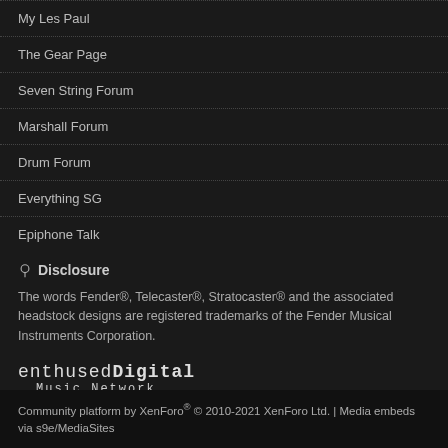My Les Paul
The Gear Page
Seven String Forum
Marshall Forum
Drum Forum
Everything SG
Epiphone Talk
Disclosure
The words Fender®, Telecaster®, Stratocaster® and the associated headstock designs are registered trademarks of the Fender Musical Instruments Corporation.
[Figure (logo): enthusedDigital Music Network logo in monospace font]
Community platform by XenForo® © 2010-2021 XenForo Ltd. | Media embeds via s9e/MediaSites